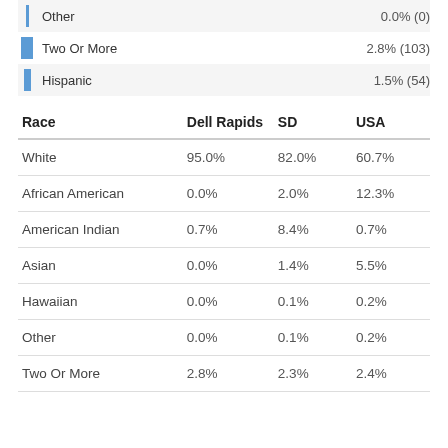[Figure (bar-chart): Race - partial bar chart]
| Race | Dell Rapids | SD | USA |
| --- | --- | --- | --- |
| White | 95.0% | 82.0% | 60.7% |
| African American | 0.0% | 2.0% | 12.3% |
| American Indian | 0.7% | 8.4% | 0.7% |
| Asian | 0.0% | 1.4% | 5.5% |
| Hawaiian | 0.0% | 0.1% | 0.2% |
| Other | 0.0% | 0.1% | 0.2% |
| Two Or More | 2.8% | 2.3% | 2.4% |